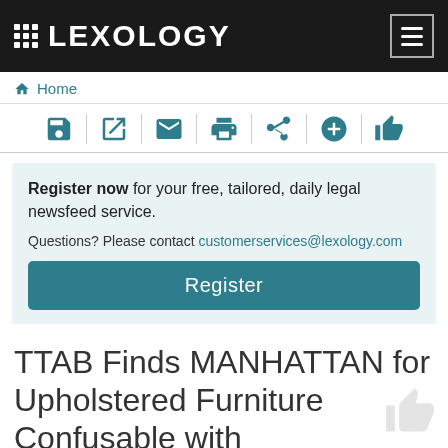LEXOLOGY
Home
[Figure (screenshot): Toolbar with icons: save, external link, email, print, share, add, thumbs up]
Register now for your free, tailored, daily legal newsfeed service. Questions? Please contact customerservices@lexology.com
Register
TTAB Finds MANHATTAN for Upholstered Furniture Confusable with MANHATTAN CABINETRY for